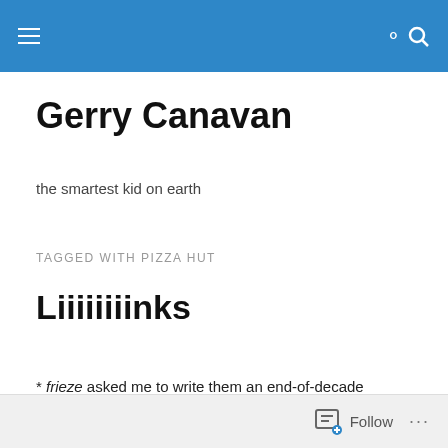Gerry Canavan — navigation and search bar
Gerry Canavan
the smartest kid on earth
TAGGED WITH PIZZA HUT
Liiiiiiiinks
* frieze asked me to write them an end-of-decade reflection on franchise culture, so here it is: “Disney’s Endgame: How the Franchise Came to Rule Cinema.” It bounces off the Scorsese brouhaha, but with an eye
Follow ...